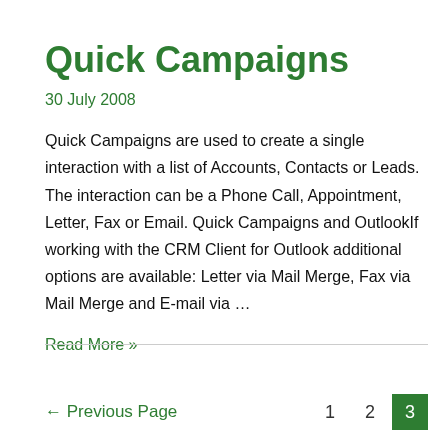Quick Campaigns
30 July 2008
Quick Campaigns are used to create a single interaction with a list of Accounts, Contacts or Leads. The interaction can be a Phone Call, Appointment, Letter, Fax or Email. Quick Campaigns and OutlookIf working with the CRM Client for Outlook additional options are available: Letter via Mail Merge, Fax via Mail Merge and E-mail via …
Read More »
← Previous Page   1   2   3